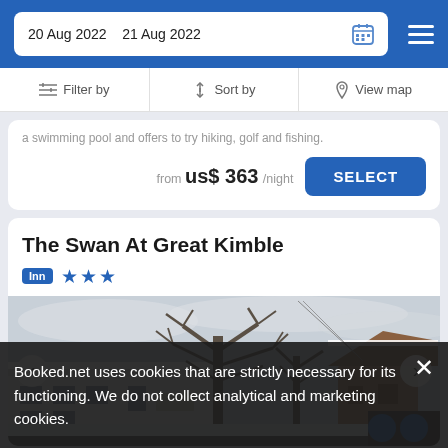20 Aug 2022   21 Aug 2022
Filter by   Sort by   View map
a swimming pool and offers to try hiking, golf and fishing.
from us$ 363/night
The Swan At Great Kimble
Inn ★★★
[Figure (photo): Exterior winter photograph of The Swan At Great Kimble inn showing snow-covered rooftops, bare trees, and overcast sky]
Booked.net uses cookies that are strictly necessary for its functioning. We do not collect analytical and marketing cookies.